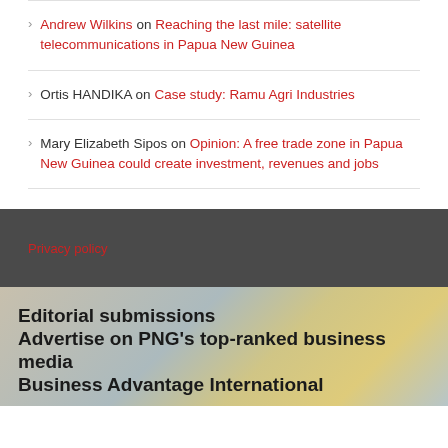Andrew Wilkins on Reaching the last mile: satellite telecommunications in Papua New Guinea
Ortis HANDIKA on Case study: Ramu Agri Industries
Mary Elizabeth Sipos on Opinion: A free trade zone in Papua New Guinea could create investment, revenues and jobs
Privacy policy
Editorial submissions
Advertise on PNG's top-ranked business media
Business Advantage International